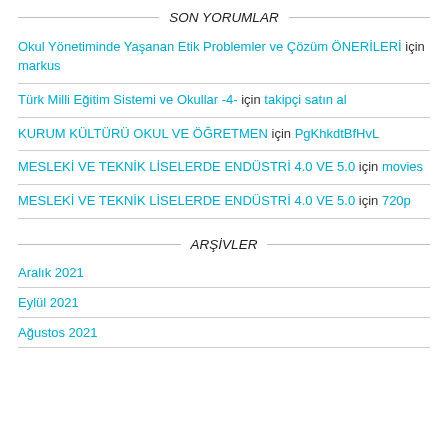SON YORUMLAR
Okul Yönetiminde Yaşanan Etik Problemler ve Çözüm ÖNERİLERİ için markus
Türk Milli Eğitim Sistemi ve Okullar -4- için takipçi satın al
KURUM KÜLTÜRÜ OKUL VE ÖĞRETMEN için PgKhkdtBfHvL
MESLEKİ VE TEKNİK LİSELERDE ENDÜSTRİ 4.0 VE 5.0 için movies
MESLEKİ VE TEKNİK LİSELERDE ENDÜSTRİ 4.0 VE 5.0 için 720p
ARŞİVLER
Aralık 2021
Eylül 2021
Ağustos 2021